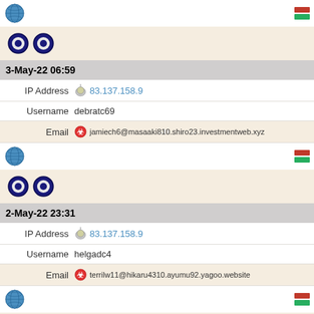[Figure (screenshot): Globe icon and flag indicators row 1]
[Figure (screenshot): Two Opera browser icons row 1]
3-May-22 06:59
IP Address 83.137.158.9
Username debratc69
Email jamiech6@masaaki810.shiro23.investmentweb.xyz
[Figure (screenshot): Globe icon and flag indicators row 2]
[Figure (screenshot): Two Opera browser icons row 2]
2-May-22 23:31
IP Address 83.137.158.9
Username helgadc4
Email terrilw11@hikaru4310.ayumu92.yagoo.website
[Figure (screenshot): Globe icon and flag indicators row 3]
[Figure (screenshot): Two Opera browser icons row 3]
2-May-22 22:21
IP Address 83.137.158.9
Username karensk69